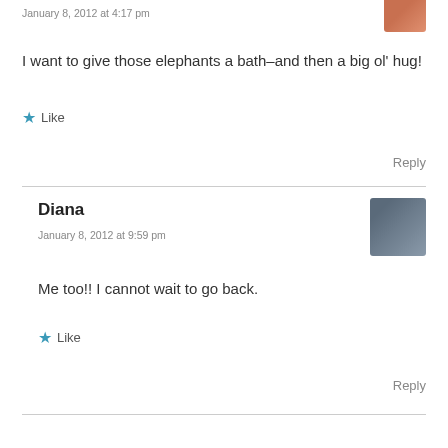January 8, 2012 at 4:17 pm
I want to give those elephants a bath–and then a big ol' hug!
★ Like
Reply
Diana
January 8, 2012 at 9:59 pm
Me too!! I cannot wait to go back.
★ Like
Reply